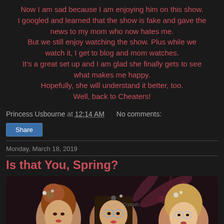Now I am sad because I am enjoying him on this show. I googled and learned that the show is fake and gave the news to my mom who now hates me. But we still enjoy watching the show. Plus while we watch it, I get to blog and mom watches. It's a great set up and I am glad she finally gets to see what makes me happy. Hopefully, she will understand it better, too. Well, back to Cheaters!
Princess Usbourne at 12:14 AM    No comments:
Share
Monday, March 18, 2019
Is that You, Spring?
[Figure (illustration): Digital illustration of three stylized anime-style women with elaborate hairstyles and accessories against a dark floral background with pink leaves]